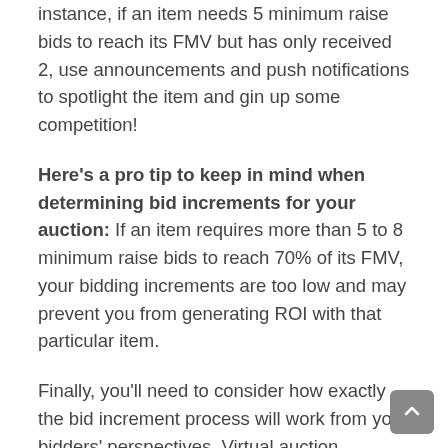instance, if an item needs 5 minimum raise bids to reach its FMV but has only received 2, use announcements and push notifications to spotlight the item and gin up some competition!
Here's a pro tip to keep in mind when determining bid increments for your auction: If an item requires more than 5 to 8 minimum raise bids to reach 70% of its FMV, your bidding increments are too low and may prevent you from generating ROI with that particular item.
Finally, you'll need to consider how exactly the bid increment process will work from your bidders' perspectives. Virtual auction software should make it...